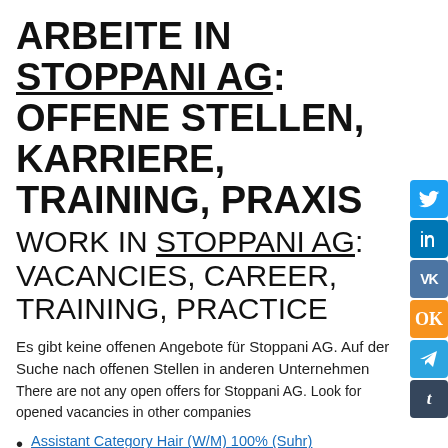ARBEITE IN STOPPANI AG: OFFENE STELLEN, KARRIERE, TRAINING, PRAXIS
WORK IN STOPPANI AG: VACANCIES, CAREER, TRAINING, PRACTICE
Es gibt keine offenen Angebote für Stoppani AG. Auf der Suche nach offenen Stellen in anderen Unternehmen
There are not any open offers for Stoppani AG. Look for opened vacancies in other companies
Assistant Category Hair (W/M) 100% (Suhr)
Angular Developer (#18149) | Ein Contracting Job von PROSTAFF (St. Gallen)